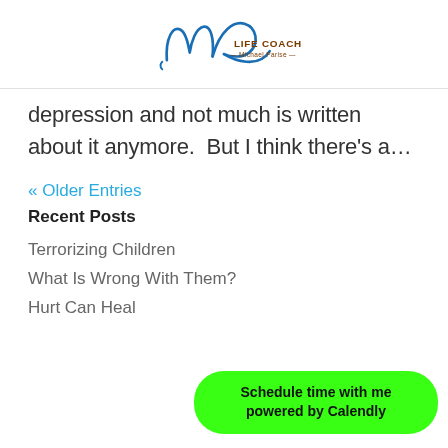[Figure (logo): MP Life Coach — Michael Parise logo with blue cursive MP and brown text]
depression and not much is written about it anymore.  But I think there's a…
« Older Entries
Recent Posts
Terrorizing Children
What Is Wrong With Them?
Hurt Can Heal
[Figure (other): Green rounded button: Schedule time with me powered by Calendly]